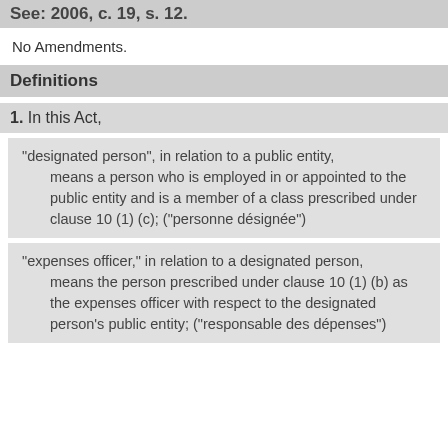See: 2006, c. 19, s. 12.
No Amendments.
Definitions
1. In this Act,
“designated person”, in relation to a public entity, means a person who is employed in or appointed to the public entity and is a member of a class prescribed under clause 10 (1) (c); (“personne désignée”)
“expenses officer,” in relation to a designated person, means the person prescribed under clause 10 (1) (b) as the expenses officer with respect to the designated person’s public entity; (“responsable des dépenses”)